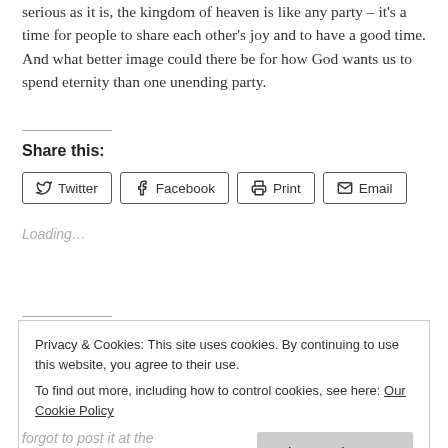serious as it is, the kingdom of heaven is like any party – it's a time for people to share each other's joy and to have a good time. And what better image could there be for how God wants us to spend eternity than one unending party.
Share this:
Twitter  Facebook  Print  Email
Loading…
Privacy & Cookies: This site uses cookies. By continuing to use this website, you agree to their use.
To find out more, including how to control cookies, see here: Our Cookie Policy
Close and accept
forgot to post it at the